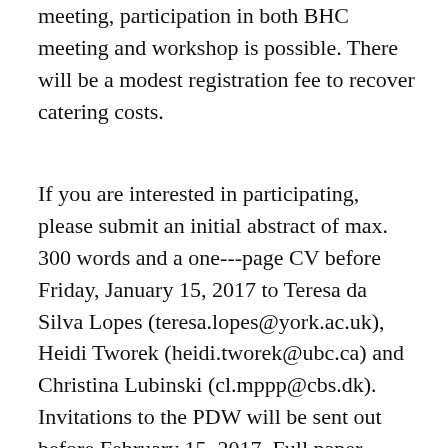meeting, participation in both BHC meeting and workshop is possible. There will be a modest registration fee to recover catering costs.
If you are interested in participating, please submit an initial abstract of max. 300 words and a one---page CV before Friday, January 15, 2017 to Teresa da Silva Lopes (teresa.lopes@york.ac.uk), Heidi Tworek (heidi.tworek@ubc.ca) and Christina Lubinski (cl.mppp@cbs.dk). Invitations to the PDW will be sent out before February 15, 2017. Full paper (8,000 to 12,000 words) or paper idea (1,000 to 3,000 words) submissions will be expected by Friday, March 3, 2017. Please feel free to contact the organizers with your paper ideas if